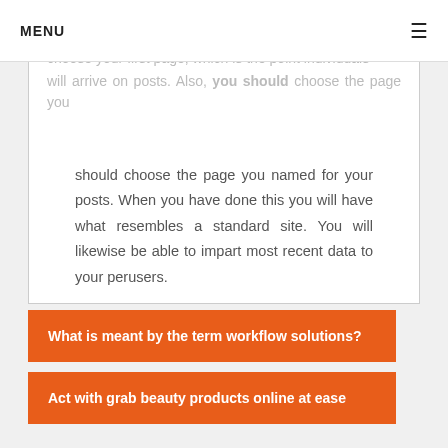MENU ≡
your latest posts to a static page. Tab you can choose your first page, which is the point individuals will arrive on posts. Also, you should choose the page you named for your posts. When you have done this you will have what resembles a standard site. You will likewise be able to impart most recent data to your perusers.
What is meant by the term workflow solutions?
Act with grab beauty products online at ease